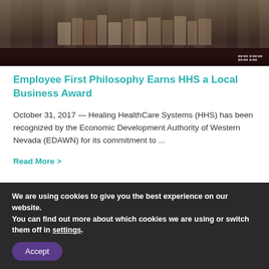[Figure (photo): Group photo showing the lower half of people standing in a line, visible from waist/legs down, dark floor background]
Employee First Philosophy Earns HHS a Local Business Award
October 31, 2017 — Healing HealthCare Systems (HHS) has been recognized by the Economic Development Authority of Western Nevada (EDAWN) for its commitment to ...
Read More >
We are using cookies to give you the best experience on our website.
You can find out more about which cookies we are using or switch them off in settings.
Accept